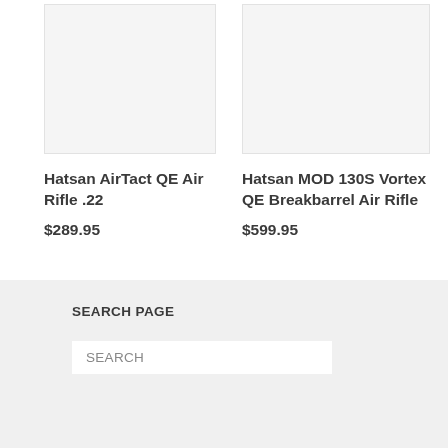[Figure (photo): Product image placeholder for Hatsan AirTact QE Air Rifle .22 - light gray background rectangle]
[Figure (photo): Product image placeholder for Hatsan MOD 130S Vortex QE Breakbarrel Air Rifle - light gray background rectangle]
Hatsan AirTact QE Air Rifle .22
$289.95
Hatsan MOD 130S Vortex QE Breakbarrel Air Rifle
$599.95
SEARCH PAGE
SEARCH